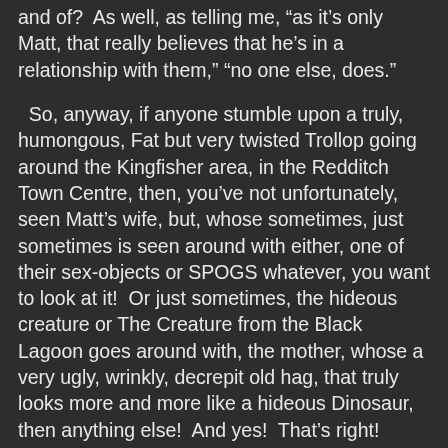and of?  As well, as telling me, "as it's only Matt, that really believes that he's in a relationship with them," "no one else, does."
So, anyway, if anyone stumble upon a truly, humongous, Fat but very twisted Trollop going around the Kingfisher area, in the Redditch Town Centre, then, you've not unfortunately, seen Matt's wife, but, whose sometimes, just sometimes is seen around with either, one of their sex-objects or SPOGS whatever, you want to look at it!  Or just sometimes, the hideous creature or The Creature from the Black Lagoon goes around with, the mother, whose a very ugly, wrinkly, decrepit old hag, that truly looks more and more like a hideous Dinosaur, then anything else!  And yes!  That's right!
But, whose Mother, is most definitely looked so alike a very hideous, Prehistoric, Decrepit, old Ancient, Dinosaur, that as you know, were around, those millions of billions years ago!  But, who frankly, should have been bombed by one of those Asteroid, like it had, with all the rest of them, that got extinct back then, by the Asteroids!  Then, rather Asteroid missing